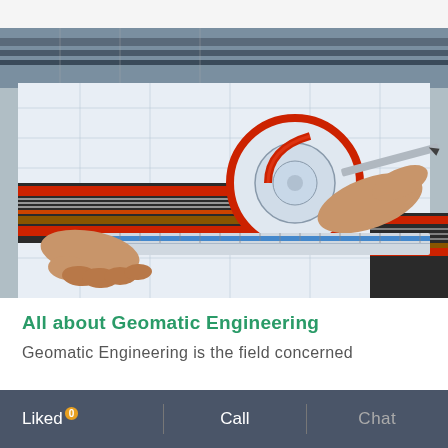[Figure (photo): A person's hands using a metal ruler and pencil/stylus to draw on a large engineering/road design plan. The plan shows a roundabout road layout with colored road markings (red, black, orange stripes). A real road is visible in the top background of the image.]
All about Geomatic Engineering
Geomatic Engineering is the field concerned
Liked 0  |  Call  |  Chat